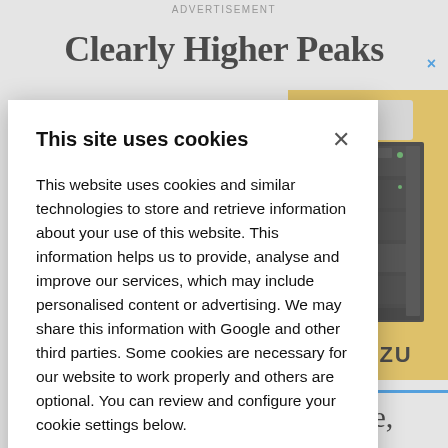ADVERTISEMENT
Clearly Higher Peaks
[Figure (photo): HPLC instrument stack on yellow background with MADZU branding]
This site uses cookies
This website uses cookies and similar technologies to store and retrieve information about your use of this website. This information helps us to provide, analyse and improve our services, which may include personalised content or advertising. We may share this information with Google and other third parties. Some cookies are necessary for our website to work properly and others are optional. You can review and configure your cookie settings below.
OK
COOKIE SETTINGS
the universe,
ll over the